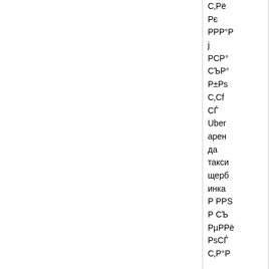С‚РёРµ
Рє
РРР°Р
РСР°
СЪР°
Р±Рs
С‚Сf
СЃ
Uber аренда такси щербинка
Р РPS
Р РСЪ
РµРРё
РsСЃ
С‚Р°Р